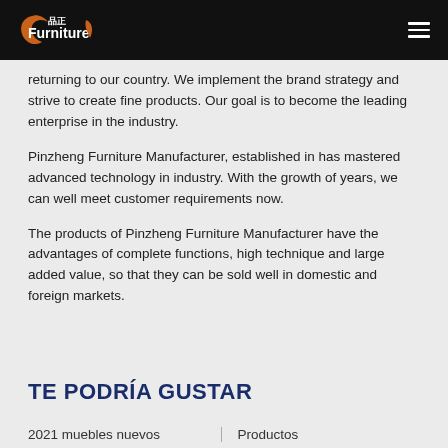品正 Furniture
returning to our country. We implement the brand strategy and strive to create fine products. Our goal is to become the leading enterprise in the industry.
Pinzheng Furniture Manufacturer, established in has mastered advanced technology in industry. With the growth of years, we can well meet customer requirements now.
The products of Pinzheng Furniture Manufacturer have the advantages of complete functions, high technique and large added value, so that they can be sold well in domestic and foreign markets.
TE PODRÍA GUSTAR
2021 muebles nuevos
Productos